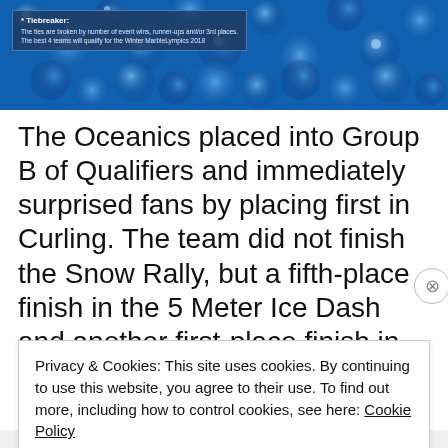[Figure (photo): Blue marbles/balls photograph banner at top of page]
* Tiebreaker: The ties are broken by number of event wins, runner-ups and/or 3rd places. The best 4 teams will qualify for the Winter MarbleLympics 2018
The Oceanics placed into Group B of Qualifiers and immediately surprised fans by placing first in Curling. The team did not finish the Snow Rally, but a fifth-place finish in the 5 Meter Ice Dash and another first-place finish in the Halfpipe event allowed the team to coast to the
Privacy & Cookies: This site uses cookies. By continuing to use this website, you agree to their use. To find out more, including how to control cookies, see here: Cookie Policy
Close and accept